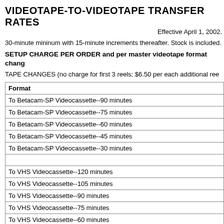VIDEOTAPE-TO-VIDEOTAPE TRANSFER RATES
Effective April 1, 2002.
30-minute mininum with 15-minute increments thereafter. Stock is included.
SETUP CHARGE PER ORDER and per master videotape format change
TAPE CHANGES (no charge for first 3 reels; $6.50 per each additional reel)
| Format |
| --- |
| To Betacam-SP Videocassette--90 minutes |
| To Betacam-SP Videocassette--75 minutes |
| To Betacam-SP Videocassette--60 minutes |
| To Betacam-SP Videocassette--45 minutes |
| To Betacam-SP Videocassette--30 minutes |
|  |
| To VHS Videocassette--120 minutes |
| To VHS Videocassette--105 minutes |
| To VHS Videocassette--90 minutes |
| To VHS Videocassette--75 minutes |
| To VHS Videocassette--60 minutes |
| To VHS Videocassette--45 minutes |